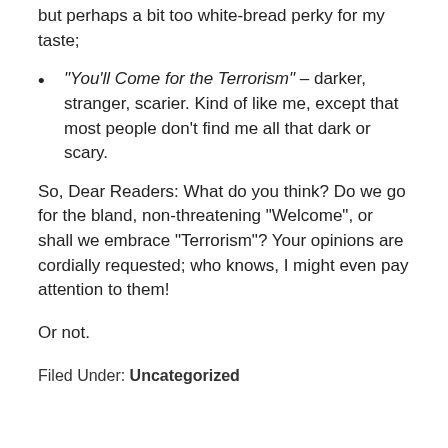but perhaps a bit too white-bread perky for my taste;
“You’ll Come for the Terrorism” – darker, stranger, scarier. Kind of like me, except that most people don’t find me all that dark or scary.
So, Dear Readers: What do you think? Do we go for the bland, non-threatening “Welcome”, or shall we embrace “Terrorism”? Your opinions are cordially requested; who knows, I might even pay attention to them!
Or not.
Filed Under: Uncategorized